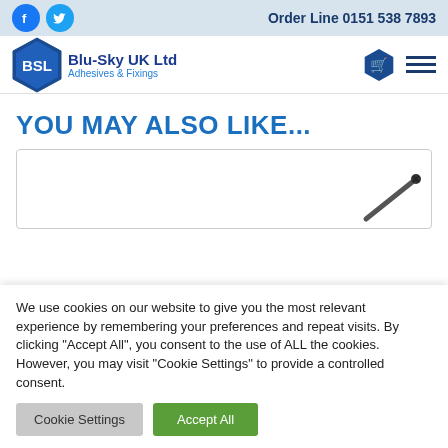Order Line 0151 538 7893
[Figure (logo): BSL Blu-Sky UK Ltd Adhesives & Fixings logo with hexagonal badge]
YOU MAY ALSO LIKE...
[Figure (photo): Partial product card showing a screw/fixing in bottom-right corner]
We use cookies on our website to give you the most relevant experience by remembering your preferences and repeat visits. By clicking "Accept All", you consent to the use of ALL the cookies. However, you may visit "Cookie Settings" to provide a controlled consent.
Cookie Settings | Accept All